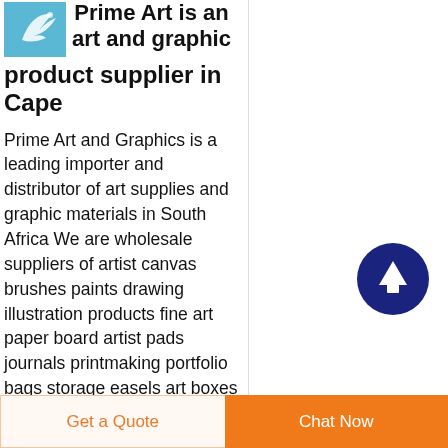[Figure (logo): Prime Art logo - light blue square with bird/leaf graphic]
Prime Art is an art and graphic product supplier in Cape
Prime Art and Graphics is a leading importer and distributor of art supplies and graphic materials in South Africa We are wholesale suppliers of artist canvas brushes paints drawing illustration products fine art paper board artist pads journals printmaking portfolio bags storage easels art boxes drafting equipment digital printing paper crafts starter
[Figure (other): Dark navy circular scroll-to-top button with white upward arrow]
Get a Quote
Chat Now